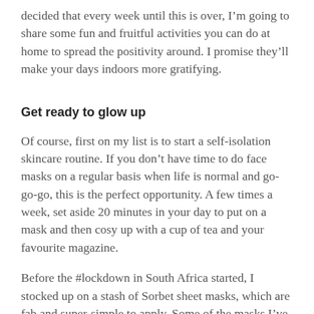decided that every week until this is over, I'm going to share some fun and fruitful activities you can do at home to spread the positivity around. I promise they'll make your days indoors more gratifying.
Get ready to glow up
Of course, first on my list is to start a self-isolation skincare routine. If you don't have time to do face masks on a regular basis when life is normal and go-go-go, this is the perfect opportunity. A few times a week, set aside 20 minutes in your day to put on a mask and then cosy up with a cup of tea and your favourite magazine.
Before the #lockdown in South Africa started, I stocked up on a stash of Sorbet sheet masks, which are fab and super-simple to apply. Some of the masks I've been loving this